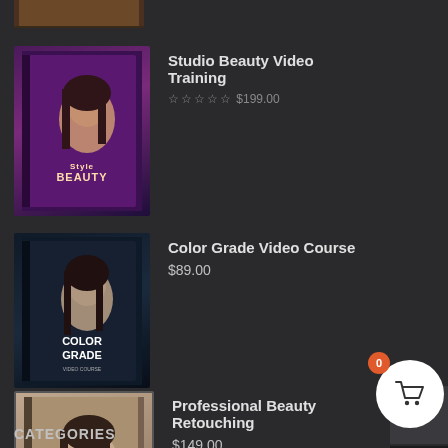[Figure (photo): Partial top of product box image, cropped at top]
[Figure (photo): Studio Beauty Video Training product box with woman portrait in purple tones]
Studio Beauty Video Training
☆☆☆☆☆ $199.00
[Figure (photo): Color Grade Video Course product box with woman portrait in dark blue tones]
Color Grade Video Course
$89.00
[Figure (photo): Professional Beauty Retouching product box with woman face portrait]
Professional Beauty Retouching
$149.00
CATEGORIES